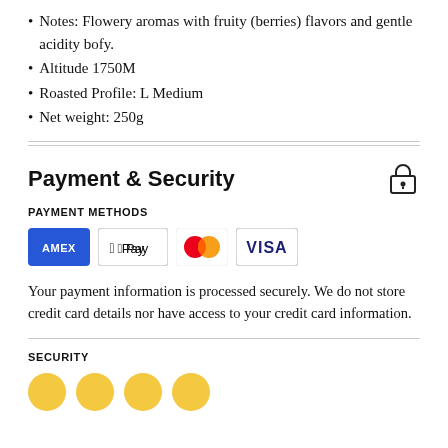Notes: Flowery aromas with fruity (berries) flavors and gentle acidity bofy.
Altitude 1750M
Roasted Profile: L Medium
Net weight: 250g
Payment & Security
PAYMENT METHODS
[Figure (infographic): Payment method icons: American Express (blue), Apple Pay (white with border), Mastercard (red/orange circles), Visa (blue text)]
Your payment information is processed securely. We do not store credit card details nor have access to your credit card information.
SECURITY
[Figure (infographic): Security badge icons (partially visible at bottom of page)]